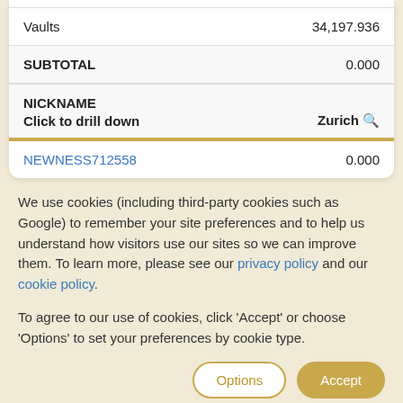|  |  |
| --- | --- |
| Vaults | 34,197.936 |
| SUBTOTAL | 0.000 |
| NICKNAME / Click to drill down | Zurich |
| NEWNESS712558 | 0.000 |
We use cookies (including third-party cookies such as Google) to remember your site preferences and to help us understand how visitors use our sites so we can improve them. To learn more, please see our privacy policy and our cookie policy.
To agree to our use of cookies, click 'Accept' or choose 'Options' to set your preferences by cookie type.